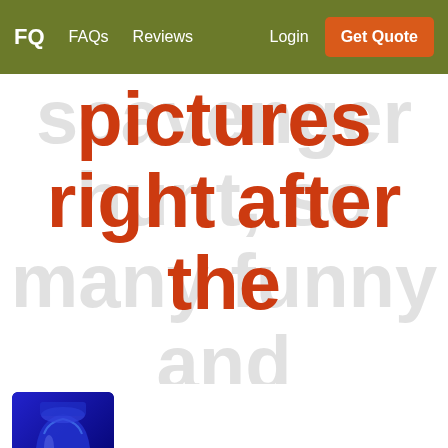FQ  FAQs  Reviews  Login  Get Quote
pictures right after the scavenger hunt, so many funny and amazing memories!
[Figure (photo): Avatar photo of reviewer Ed F. showing a blue glass or vase object]
Ed F. [external link icon]
9/23/2019
[Figure (other): Five red star rating boxes with white stars]